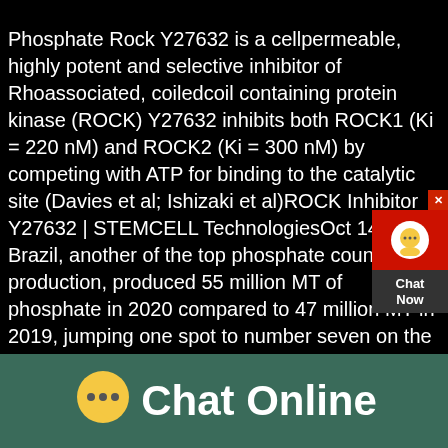Phosphate Rock Y27632 is a cellpermeable, highly potent and selective inhibitor of Rhoassociated, coiledcoil containing protein kinase (ROCK) Y27632 inhibits both ROCK1 (Ki = 220 nM) and ROCK2 (Ki = 300 nM) by competing with ATP for binding to the catalytic site (Davies et al; Ishizaki et al)ROCK Inhibitor Y27632 | STEMCELL TechnologiesOct 14 2021· Brazil, another of the top phosphate countries production, produced 55 million MT of phosphate in 2020 compared to 47 million MT in 2019, jumping one spot to number seven on the list10 Top Phosphate Countries by Production | INN
[Figure (photo): Partial view of a building or industrial structure against a sky with clouds]
Chat Online